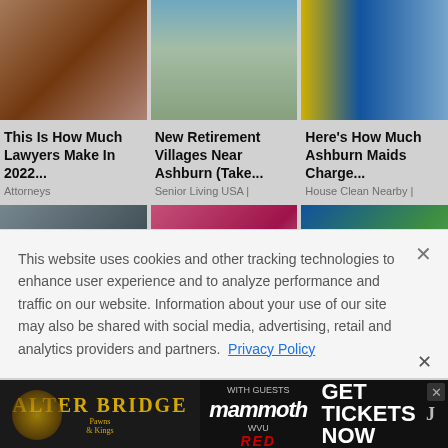[Figure (photo): Red-haired woman portrait]
[Figure (photo): Row of small retirement village houses with green hedges]
[Figure (photo): Group of maids/cleaners in blue uniforms holding supplies]
This Is How Much Lawyers Make In 2022...
Attorneys
New Retirement Villages Near Ashburn (Take...
Senior Living USA |
Here's How Much Ashburn Maids Charge...
House Clean Nearby |
[Figure (photo): Robot arm or mechanical device close-up]
[Figure (photo): Woman in pink sports bra looking down]
[Figure (photo): Blue glove and garden/plant background]
This website uses cookies and other tracking technologies to enhance user experience and to analyze performance and traffic on our website. Information about your use of our site may also be shared with social media, advertising, retail and analytics providers and partners. Privacy Policy
[Figure (screenshot): Alter Bridge concert ad banner with mammoth WVU and GET TICKETS NOW text]